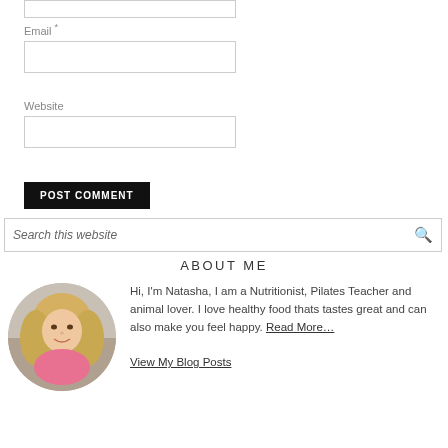Email *
Website
POST COMMENT
Search this website
ABOUT ME
[Figure (photo): Circular portrait photo of a blonde woman smiling]
Hi, I'm Natasha, I am a Nutritionist, Pilates Teacher and animal lover. I love healthy food thats tastes great and can also make you feel happy. Read More…
View My Blog Posts